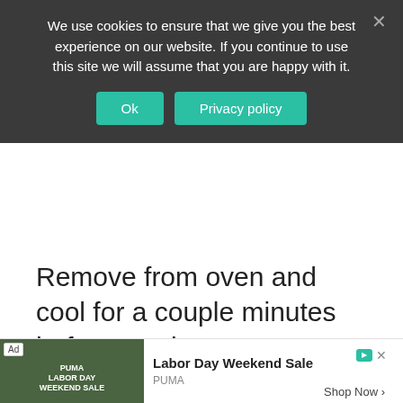We use cookies to ensure that we give you the best experience on our website. If you continue to use this site we will assume that you are happy with it.
Ok | Privacy policy
Remove from oven and cool for a couple minutes before serving.
[Figure (screenshot): Advertisement bar showing Labor Day Weekend Sale by PUMA with Shop Now button, and a PUMA branded image on the left with forest background]